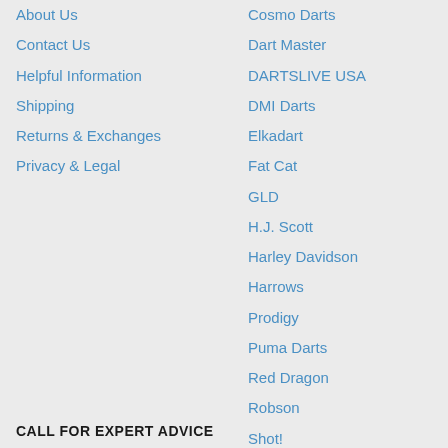About Us
Contact Us
Helpful Information
Shipping
Returns & Exchanges
Privacy & Legal
Cosmo Darts
Dart Master
DARTSLIVE USA
DMI Darts
Elkadart
Fat Cat
GLD
H.J. Scott
Harley Davidson
Harrows
Prodigy
Puma Darts
Red Dragon
Robson
Shot!
Unicorn
VDarts
Vector
Viper
Winmau
XQ Darts
MORE BRANDS
CALL FOR EXPERT ADVICE